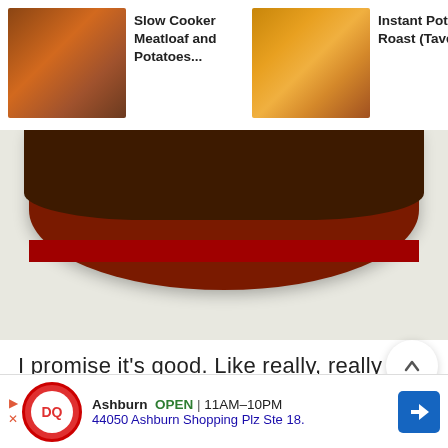[Figure (screenshot): Website navigation bar showing three recipe thumbnails: 'Slow Cooker Meatloaf and Potatoes...', 'Instant Pot Pot Roast (Tavern...', 'Creamy Slow-Cooker Tortellini.']
[Figure (photo): Bottom portion of a food photo showing what appears to be a round red slow cooker or pot on a light gray surface]
I promise it's good. Like really, really good.
[Figure (screenshot): Dairy Queen advertisement banner showing Ashburn location open 11AM-10PM at 44050 Ashburn Shopping Plz Ste 18.]